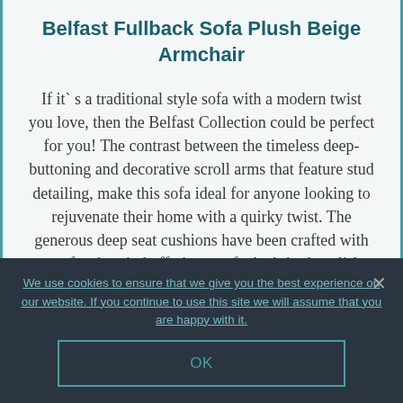Belfast Fullback Sofa Plush Beige Armchair
If it`s a traditional style sofa with a modern twist you love, then the Belfast Collection could be perfect for you! The contrast between the timeless deep-buttoning and decorative scroll arms that feature stud detailing, make this sofa ideal for anyone looking to rejuvenate their home with a quirky twist. The generous deep seat cushions have been crafted with comfort in mind offering a sofa that's both stylish and
We use cookies to ensure that we give you the best experience on our website. If you continue to use this site we will assume that you are happy with it.
OK